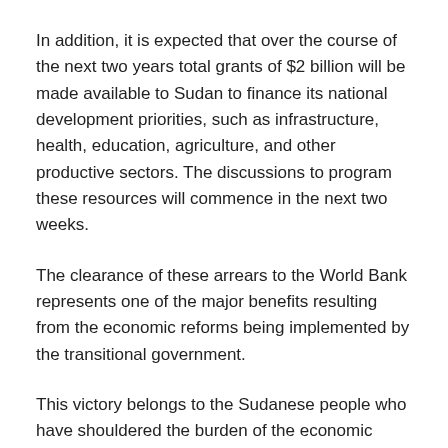In addition, it is expected that over the course of the next two years total grants of $2 billion will be made available to Sudan to finance its national development priorities, such as infrastructure, health, education, agriculture, and other productive sectors. The discussions to program these resources will commence in the next two weeks.
The clearance of these arrears to the World Bank represents one of the major benefits resulting from the economic reforms being implemented by the transitional government.
This victory belongs to the Sudanese people who have shouldered the burden of the economic reforms, which have been made difficult by the COVID-19 pandemic.
It is also a significant achievement for Sudan's Transitional Government as it implements its economic program to realize